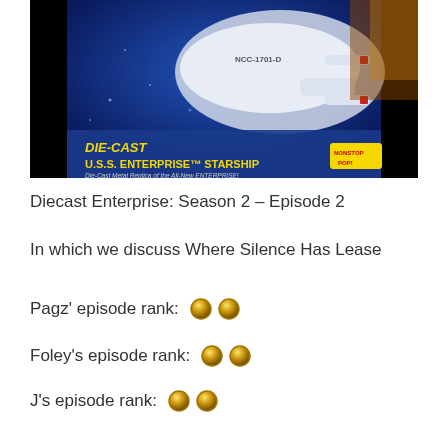[Figure (photo): Die-Cast U.S.S. Enterprise Starship toy in blue blister packaging. Text on package reads 'DIE-CAST U.S.S. ENTERPRISE STARSHIP Die-Cast Metal Replica of the All-New ENTERPRISE!' and 'NONSTOP POP!']
Diecast Enterprise: Season 2 – Episode 2
In which we discuss Where Silence Has Lease
Pagz' episode rank: 🪙🪙
Foley's episode rank: 🪙🪙
J's episode rank: 🪙🪙